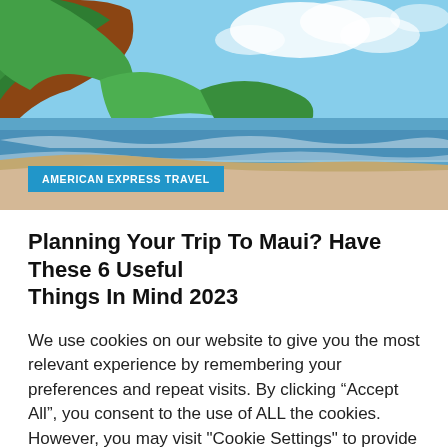[Figure (photo): A tropical beach scene with red-clay cliffs covered in green vegetation on the left, blue ocean water with gentle waves, sandy beach in the foreground, and a partly cloudy blue sky. An American Express Travel blue badge is overlaid at the bottom left.]
Planning Your Trip To Maui? Have These 6 Useful Things In Mind 2023
We use cookies on our website to give you the most relevant experience by remembering your preferences and repeat visits. By clicking “Accept All”, you consent to the use of ALL the cookies. However, you may visit "Cookie Settings" to provide a controlled consent.
Cookie Settings | Accept All